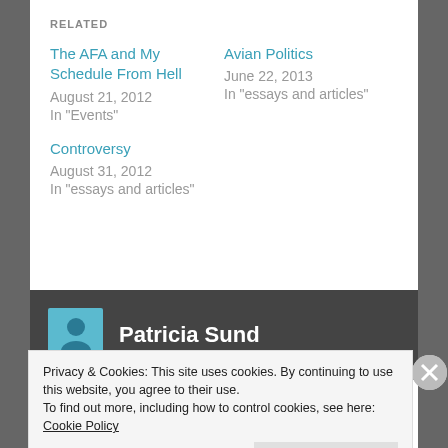RELATED
The AFA and My Schedule From Hell
August 21, 2012
In "Events"
Avian Politics
June 22, 2013
In "essays and articles"
Controversy
August 31, 2012
In "essays and articles"
Patricia Sund
Privacy & Cookies: This site uses cookies. By continuing to use this website, you agree to their use.
To find out more, including how to control cookies, see here: Cookie Policy
Close and accept